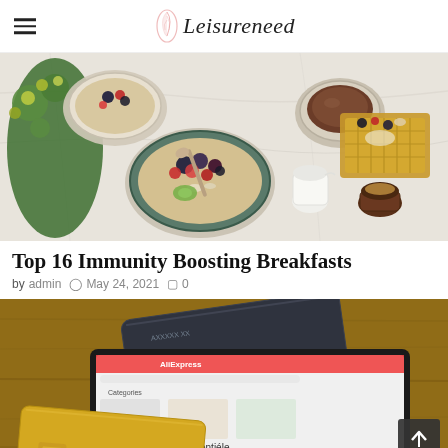Leisureneed
[Figure (photo): Overhead flat-lay of breakfast bowls with berries, oats, and fruit, a waffle with toppings, a cup of coffee, a small milk pitcher, green herbs/flowers on a white marble surface]
Top 16 Immunity Boosting Breakfasts
by admin  May 24, 2021  0
[Figure (photo): Tablet showing AliExpress website with a credit card and a gold debit card placed on a wooden desk surface]